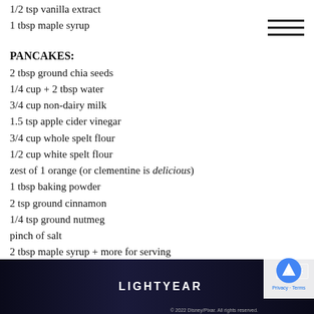1/2 tsp vanilla extract
1 tbsp maple syrup
PANCAKES:
2 tbsp ground chia seeds
1/4 cup + 2 tbsp water
3/4 cup non-dairy milk
1.5 tsp apple cider vinegar
3/4 cup whole spelt flour
1/2 cup white spelt flour
zest of 1 orange (or clementine is delicious)
1 tbsp baking powder
2 tsp ground cinnamon
1/4 tsp ground nutmeg
pinch of salt
2 tbsp maple syrup + more for serving
1 tbsp melted coconut oil + more for cooking pancakes
2 c... (partially obscured)
ha... (partially obscured)